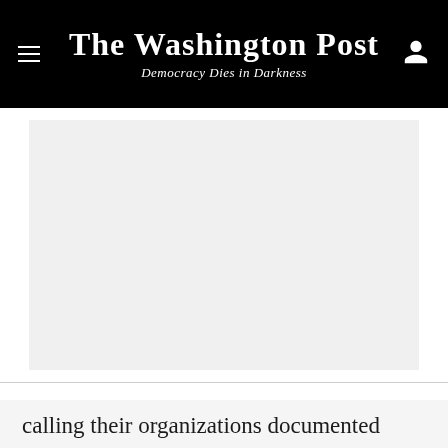The Washington Post
Democracy Dies in Darkness
[Figure (photo): Large image placeholder area with light gray background, appearing to be a photo content area for an article image]
This increasingly visible spillover from radical online forums has alarmed researchers, who for months have
calling their organizations documented forms of...